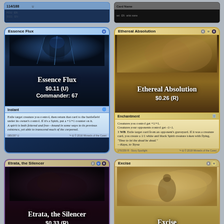[Figure (other): Top strip showing partial MTG cards - cropped images of two cards at top of page]
[Figure (other): Essence Flux MTG card - blue instant card, $0.11 (U), Commander: 67. Art shows spirit figure. Text: Exile target creature you control, then return that card to the battlefield under its owner's control. If it's a Spirit, put a +1/+1 counter on it. Flavor: A spirit is both fettered and free—bound in some ways to its previous existence, yet able to transcend much of the corporeal.]
[Figure (other): Ethereal Absolution MTG card - gold enchantment card, $0.26 (R). Text: Creatures you control get +1/+1. Creatures your opponents control get -1/-1. 3 white black: Exile target card from an opponent's graveyard. If it was a creature card, you create a 1/1 white and black Spirit creature token with flying. Flavor: Time to let the dead be dead. —Kaya, to Teysa]
[Figure (other): Etrata, the Silencer MTG card - dark legendary creature Vampire Assassin, $0.33 (R), Commander: 29. Text: Etrata, the Silencer can't be blocked.]
[Figure (other): Excise MTG card - tan/beige instant card, $0.05 (C). Text: Remove target attacking creature from...]